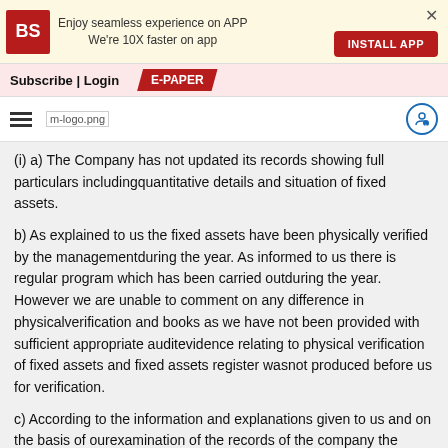[Figure (screenshot): Business Standard app banner with BS logo, text 'Enjoy seamless experience on APP We're 10X faster on app', INSTALL APP button, and close X]
[Figure (screenshot): Navigation bar with Subscribe | Login text and E-PAPER button]
[Figure (logo): Logo bar with hamburger menu, m-logo.png image, and user account icon]
(i) a) The Company has not updated its records showing full particulars includingquantitative details and situation of fixed assets.
b) As explained to us the fixed assets have been physically verified by the managementduring the year. As informed to us there is regular program which has been carried outduring the year. However we are unable to comment on any difference in physicalverification and books as we have not been provided with sufficient appropriate auditevidence relating to physical verification of fixed assets and fixed assets register wasnot produced before us for verification.
c) According to the information and explanations given to us and on the basis of ourexamination of the records of the company the company does not own any immovableproperty.
(ii) According to the information and explanations given to us the inventory